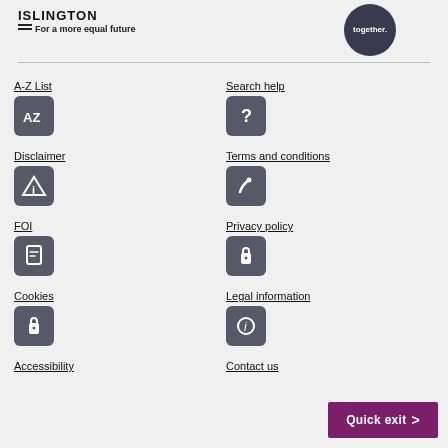[Figure (logo): Organisation logo with text 'For a more equal future' and a dark circle with 'together.' text]
A-Z List
[Figure (illustration): Dark rounded square icon with 'AZ' letters]
Search help
[Figure (illustration): Dark rounded square icon with question mark]
Disclaimer
[Figure (illustration): Dark rounded square icon with warning/info triangle]
Terms and conditions
[Figure (illustration): Dark rounded square icon with pen/quill]
FOI
[Figure (illustration): Dark rounded square icon with document]
Privacy policy
[Figure (illustration): Dark rounded square icon with padlock]
Cookies
[Figure (illustration): Dark rounded square icon with padlock]
Legal information
[Figure (illustration): Dark rounded square icon with info 'i']
Accessibility
Contact us
Quick exit >